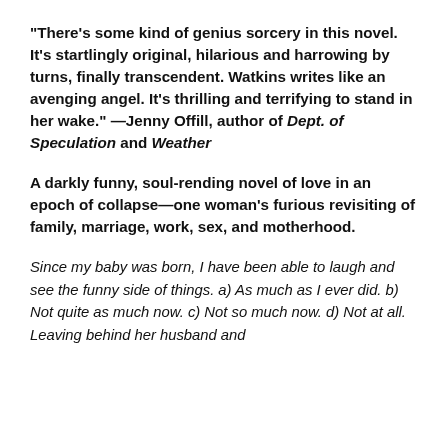"There's some kind of genius sorcery in this novel. It's startlingly original, hilarious and harrowing by turns, finally transcendent. Watkins writes like an avenging angel. It's thrilling and terrifying to stand in her wake." —Jenny Offill, author of Dept. of Speculation and Weather
A darkly funny, soul-rending novel of love in an epoch of collapse—one woman's furious revisiting of family, marriage, work, sex, and motherhood.
Since my baby was born, I have been able to laugh and see the funny side of things. a) As much as I ever did. b) Not quite as much now. c) Not so much now. d) Not at all. Leaving behind her husband and